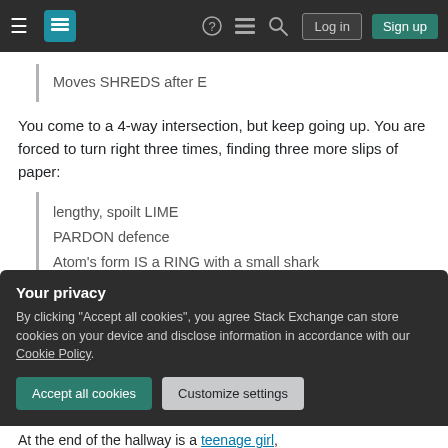Stack Exchange navigation bar with hamburger menu, logo, help, chat, search icons, Log in and Sign up buttons
Moves SHREDS after E
You come to a 4-way intersection, but keep going up. You are forced to turn right three times, finding three more slips of paper:
lengthy, spoilt LIME
PARDON defence
Atom's form IS a RING with a small shark
Your privacy
By clicking "Accept all cookies", you agree Stack Exchange can store cookies on your device and disclose information in accordance with our Cookie Policy.
Accept all cookies  Customize settings
At the end of the hallway is a teenage girl,